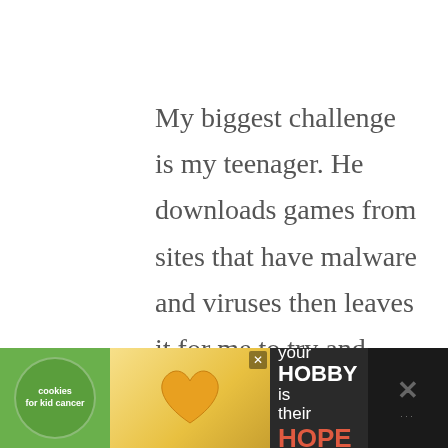My biggest challenge is my teenager. He downloads games from sites that have malware and viruses then leaves it for me to try and clean up.
Reply
RACHEL BELTZ
MAY 19, 2013 AT 1:05 AM
[Figure (other): Advertisement banner at bottom: 'your HOBBY is their HOPE' with cookies for kids cancer logo and heart-shaped cookie image]